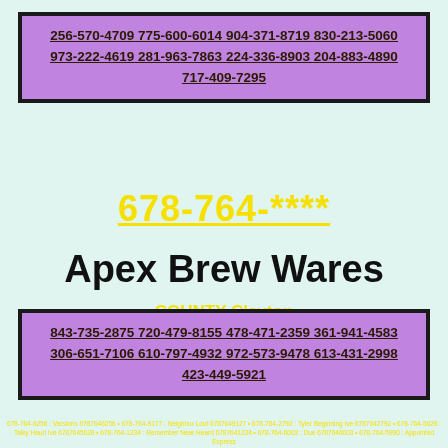256-570-4709 775-600-6014 904-371-8719 830-213-5060 973-222-4619 281-963-7863 224-336-8903 204-883-4890 717-409-7295
678-764-****
Apex Brew Wares
COUNTY Clayton
POP: of 259424 people
STATE of Georgia (GA)
843-735-2875 720-479-8155 478-471-2359 361-941-4583 306-651-7106 610-797-4932 972-573-9478 613-431-2998 423-449-5921
678-764-6256 : Versions 6787646256 • 678-764-9177 : Neighbor Lout 6787649127 • 678-784-2792 : Tyler Beginning Ive 6787642792 • 678-764-5628 : Talky Haud Ive 6787645628 • 678-764-1234 : Remember Near Heard 6787641234 • 678-764-6003 : Due 6787646003 • 678-764-5990 : Appointed Express